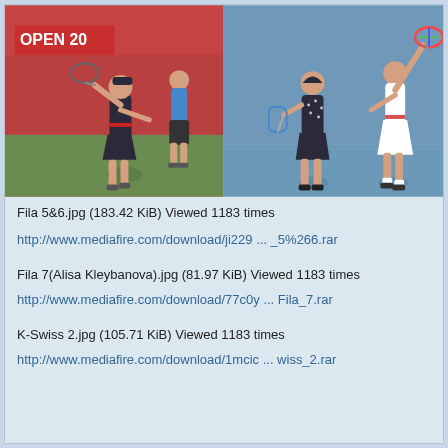[Figure (photo): Tennis video game characters wearing Fila and K-Swiss outfits. Left panel shows two female player models on a red court background. Right panel shows two female player models on a blue court background, one facing back and one in white skirt.]
Fila 5&6.jpg (183.42 KiB) Viewed 1183 times
http://www.mediafire.com/download/ji229 ... _5%266.rar
Fila 7(Alisa Kleybanova).jpg (81.97 KiB) Viewed 1183 times
http://www.mediafire.com/download/77c0y ... Fila_7.rar
K-Swiss 2.jpg (105.71 KiB) Viewed 1183 times
http://www.mediafire.com/download/1mcic ... wiss_2.rar